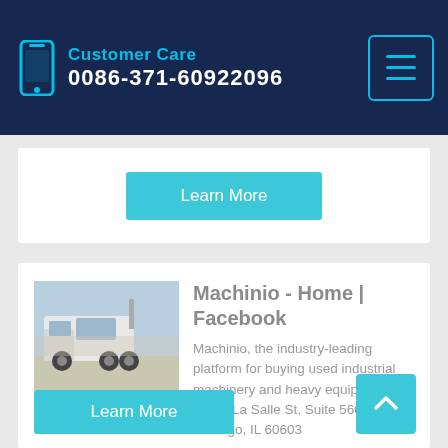Customer Care 0086-371-60922096
[Figure (screenshot): Learn More button (cyan/teal background, white text)]
[Figure (photo): White heavy truck/tractor unit parked outdoors]
Machinio - Home | Facebook
Machinio, the industry-leading platform for buying used industrial machinery and heavy equipment. 190 S La Salle St, Suite 560, Chicago, IL 60603
[Figure (screenshot): Learn More button (cyan/teal background, white text) at bottom of card]